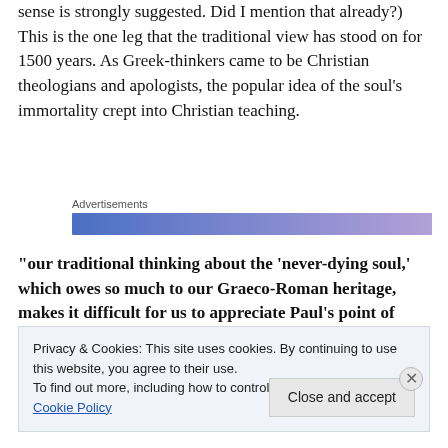sense is strongly suggested. Did I mention that already?) This is the one leg that the traditional view has stood on for 1500 years. As Greek-thinkers came to be Christian theologians and apologists, the popular idea of the soul's immortality crept into Christian teaching.
[Figure (other): Advertisements banner with blue-to-purple gradient bar]
“our traditional thinking about the ‘never-dying soul,’ which owes so much to our Graeco-Roman heritage, makes it difficult for us to appreciate Paul’s point of
Privacy & Cookies: This site uses cookies. By continuing to use this website, you agree to their use.
To find out more, including how to control cookies, see here: Cookie Policy